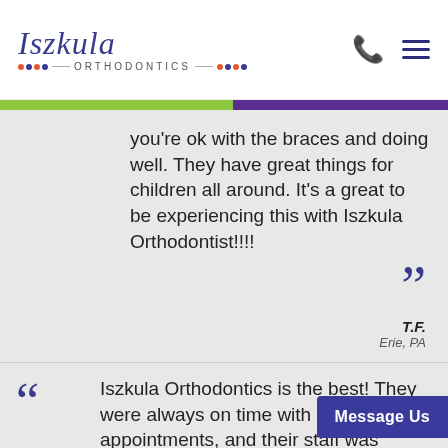Iszkula ORTHODONTICS
you're ok with the braces and doing well. They have great things for children all around. It's a great to be experiencing this with Iszkula Orthodontist!!!!
T.F.
Erie, PA
Iszkula Orthodontics is the best! They were always on time with appointments, and their staff was always friendly. Plus, in the end, I was extremely happy with my teeth and how